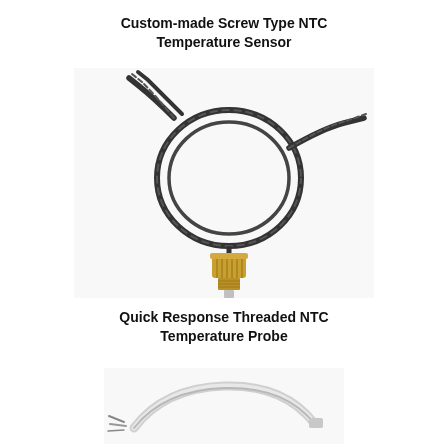Custom-made Screw Type NTC Temperature Sensor
[Figure (photo): Photo of a custom-made screw type NTC temperature sensor with a coiled dark/black cable attached to a small brass threaded fitting with a metal probe tip]
Quick Response Threaded NTC Temperature Probe
[Figure (photo): Photo of a quick response threaded NTC temperature probe with a white cable coiled, showing wire leads at one end]